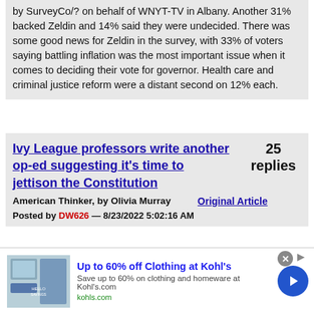by SurveyCo/? on behalf of WNYT-TV in Albany. Another 31% backed Zeldin and 14% said they were undecided. There was some good news for Zeldin in the survey, with 33% of voters saying battling inflation was the most important issue when it comes to deciding their vote for governor. Health care and criminal justice reform were a distant second on 12% each.
Ivy League professors write another op-ed suggesting it's time to jettison the Constitution
25 replies
American Thinker, by Olivia Murray   Original Article
Posted by DW626 — 8/23/2022 5:02:16 AM
[Figure (screenshot): Advertisement banner for Kohl's: Up to 60% off Clothing at Kohl's. Save up to 60% on clothing and homeware at Kohls.com. kohls.com. Shows a thumbnail image of clothing/store and a blue circular arrow button.]